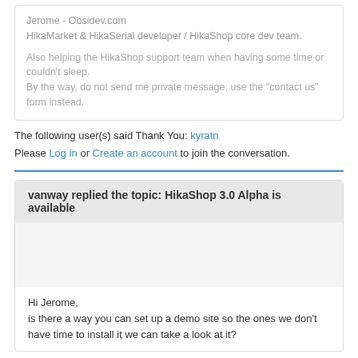Jerome - Obsidev.com
HikaMarket & HikaSerial developer / HikaShop core dev team.

Also helping the HikaShop support team when having some time or couldn't sleep.
By the way, do not send me private message, use the "contact us" form instead.
The following user(s) said Thank You: kyratn
Please Log in or Create an account to join the conversation.
vanway replied the topic: HikaShop 3.0 Alpha is available
Hi Jerome,
is there a way you can set up a demo site so the ones we don't have time to install it we can take a look at it?